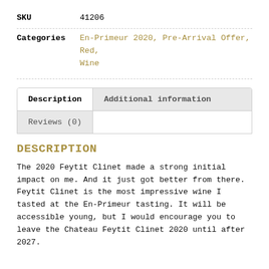| SKU | 41206 |
| Categories | En-Primeur 2020, Pre-Arrival Offer, Red, Wine |
Description | Additional information | Reviews (0)
DESCRIPTION
The 2020 Feytit Clinet made a strong initial impact on me. And it just got better from there. Feytit Clinet is the most impressive wine I tasted at the En-Primeur tasting. It will be accessible young, but I would encourage you to leave the Chateau Feytit Clinet 2020 until after 2027.